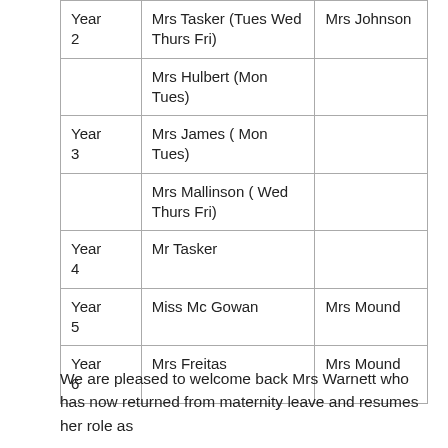| Year 2 | Mrs Tasker (Tues Wed Thurs Fri) | Mrs Johnson |
|  | Mrs Hulbert (Mon Tues) |  |
| Year 3 | Mrs James ( Mon Tues) |  |
|  | Mrs Mallinson ( Wed Thurs Fri) |  |
| Year 4 | Mr Tasker |  |
| Year 5 | Miss Mc Gowan | Mrs Mound |
| Year 6 | Mrs Freitas | Mrs Mound |
We are pleased to welcome back Mrs Warnett who has now returned from maternity leave and resumes her role as